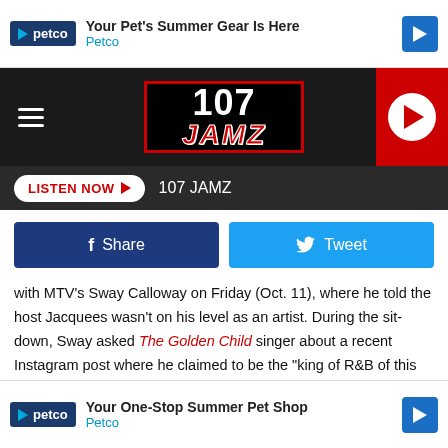[Figure (screenshot): Petco ad banner: Your Pet's Summer Gear Is Here]
[Figure (logo): 107 JAMZ radio station logo with hamburger menu and play button]
[Figure (screenshot): LISTEN NOW button with 107 JAMZ label on dark bar]
[Figure (screenshot): Facebook Share and Twitter Tweet social sharing buttons]
with MTV's Sway Calloway on Friday (Oct. 11), where he told the host Jacquees wasn't on his level as an artist. During the sit-down, Sway asked The Golden Child singer about a recent Instagram post where he claimed to be the "king of R&B of this generation," a title Jacquees has previously claimed (and faced backlash for).
After a [partially obscured] crown holder [partially obscured]
[Figure (screenshot): Petco ad banner: Your One-Stop Summer Pet Shop]